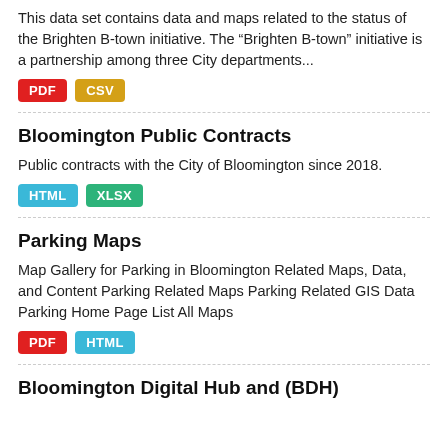This data set contains data and maps related to the status of the Brighten B-town initiative. The “Brighten B-town” initiative is a partnership among three City departments...
PDF
CSV
Bloomington Public Contracts
Public contracts with the City of Bloomington since 2018.
HTML
XLSX
Parking Maps
Map Gallery for Parking in Bloomington Related Maps, Data, and Content Parking Related Maps Parking Related GIS Data Parking Home Page List All Maps
PDF
HTML
Bloomington Digital Hub and (BDH)